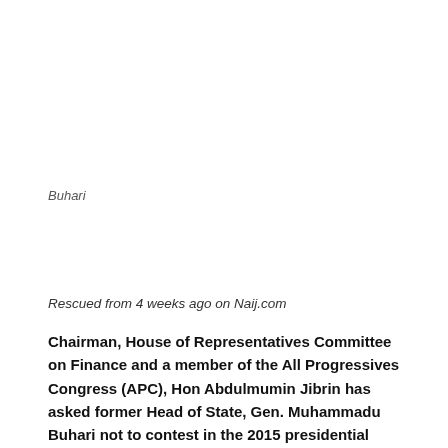Buhari
Rescued from 4 weeks ago on Naij.com
Chairman, House of Representatives Committee on Finance and a member of the All Progressives Congress (APC), Hon Abdulmumin Jibrin has asked former Head of State, Gen. Muhammadu Buhari not to contest in the 2015 presidential election.